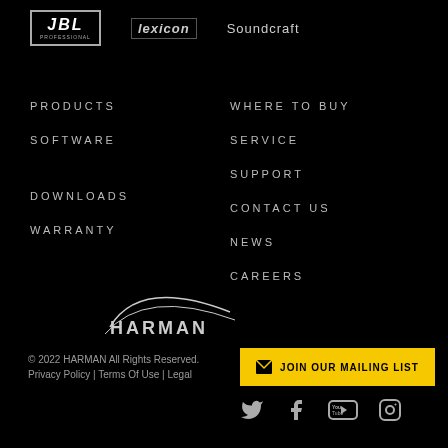[Figure (logo): JBL logo in rectangular border]
[Figure (logo): Lexicon logo italic text with border]
[Figure (logo): Soundcraft logo text]
PRODUCTS
SOFTWARE
DOWNLOADS
WARRANTY
WHERE TO BUY
SERVICE
SUPPORT
CONTACT US
NEWS
CAREERS
[Figure (logo): HARMAN logo with swoosh graphic]
[Figure (other): JOIN OUR MAILING LIST yellow button with envelope icon]
© 2022 HARMAN All Rights Reserved.
Privacy Policy | Terms Of Use | Legal
[Figure (other): Social media icons: Twitter, Facebook, YouTube, Instagram]